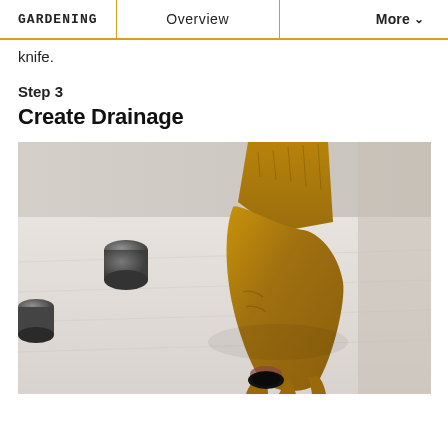GARDENING | Overview | More
knife.
Step 3
Create Drainage
[Figure (photo): A hand pressing down on a small circular drainage hole in a white surface, with two small metal cylindrical objects nearby.]